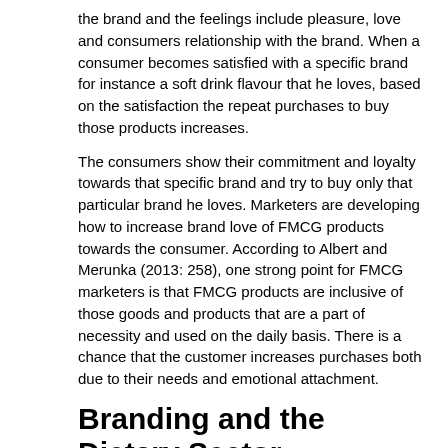the brand and the feelings include pleasure, love and consumers relationship with the brand. When a consumer becomes satisfied with a specific brand for instance a soft drink flavour that he loves, based on the satisfaction the repeat purchases to buy those products increases.
The consumers show their commitment and loyalty towards that specific brand and try to buy only that particular brand he loves. Marketers are developing how to increase brand love of FMCG products towards the consumer. According to Albert and Merunka (2013: 258), one strong point for FMCG marketers is that FMCG products are inclusive of those goods and products that are a part of necessity and used on the daily basis. There is a chance that the customer increases purchases both due to their needs and emotional attachment.
Branding and the Dietary Sector
According to one research, it was found that the brand loyalty among the dietary sector appears to be higher which shows that branding has high power in the short cut decision making process for the consumers (McAdam et al. 2014: 830). When consumers are loyal to a brand the time to search is reduced and they easily buy a product and make choices. Supermarkets